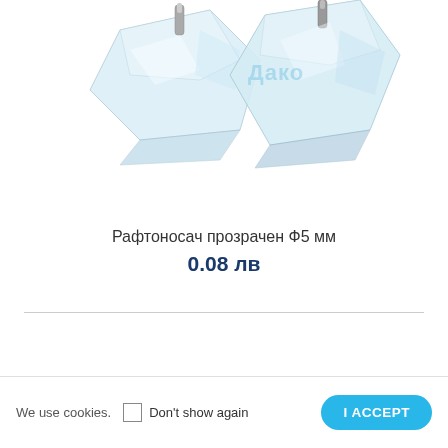[Figure (photo): Two transparent clear acrylic/plastic shelf support pegs (Ф5mm) with metal pins, photographed on white background. A watermark reads 'Дако' in light blue.]
Рафтоносач прозрачен Ф5 мм
0.08 лв
We use cookies.
Don't show again
I ACCEPT